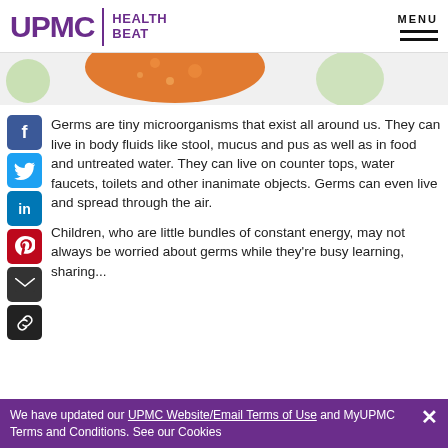UPMC | HEALTH BEAT
[Figure (illustration): Decorative health/germ illustration showing orange and green blob shapes on a light background]
Germs are tiny microorganisms that exist all around us. They can live in body fluids like stool, mucus and pus as well as in food and untreated water. They can live on counter tops, water faucets, toilets and other inanimate objects. Germs can even live and spread through the air.
Children, who are little bundles of constant energy, may not always be worried about germs while they're busy learning, sharing...
We have updated our UPMC Website/Email Terms of Use and MyUPMC Terms and Conditions. See our Cookies